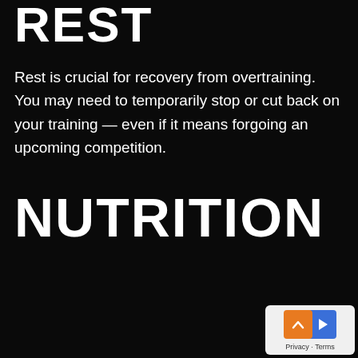REST
Rest is crucial for recovery from overtraining. You may need to temporarily stop or cut back on your training — even if it means forgoing an upcoming competition.
NUTRITION
[Figure (other): Small UI widget showing privacy/terms icons with an orange box containing an up-chevron and a blue box containing a play arrow, labeled 'Privacy · Terms']